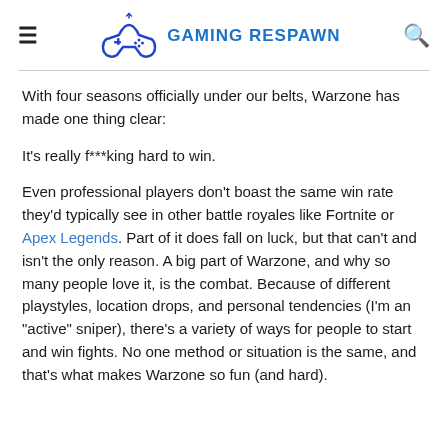GAMING RESPAWN
With four seasons officially under our belts, Warzone has made one thing clear:
It's really f***king hard to win.
Even professional players don't boast the same win rate they'd typically see in other battle royales like Fortnite or Apex Legends. Part of it does fall on luck, but that can't and isn't the only reason. A big part of Warzone, and why so many people love it, is the combat. Because of different playstyles, location drops, and personal tendencies (I'm an "active" sniper), there's a variety of ways for people to start and win fights. No one method or situation is the same, and that's what makes Warzone so fun (and hard).